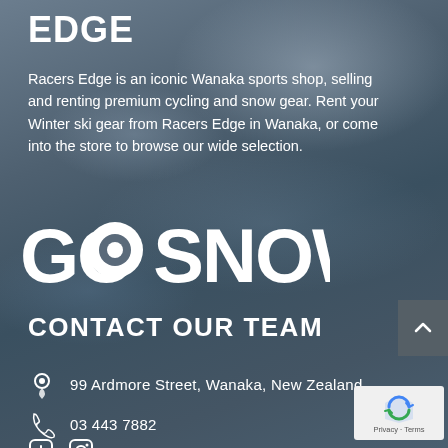EDGE
Racers Edge is an iconic Wanaka sports shop, selling and renting premium cycling and snow gear. Rent your Winter ski gear from Racers Edge in Wanaka, or come into the store to browse our wide selection.
[Figure (logo): GO SNOW logo in large bold white text with stylized lettering]
CONTACT OUR TEAM
99 Ardmore Street, Wanaka, New Zealand
03 443 7882
[Figure (logo): reCAPTCHA badge with Privacy and Terms links]